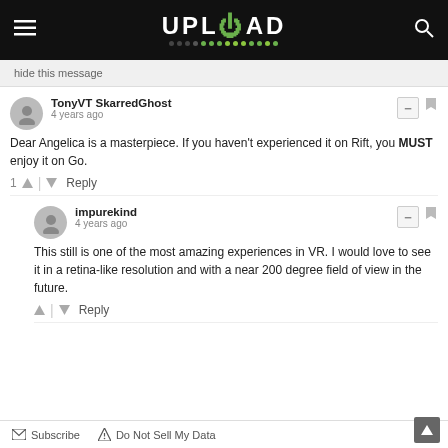UPLOAD
hide this message
TonyVT SkarredGhost
4 years ago
Dear Angelica is a masterpiece. If you haven't experienced it on Rift, you MUST enjoy it on Go.
1 Reply
impurekind
4 years ago
This still is one of the most amazing experiences in VR. I would love to see it in a retina-like resolution and with a near 200 degree field of view in the future.
Reply
Subscribe   Do Not Sell My Data